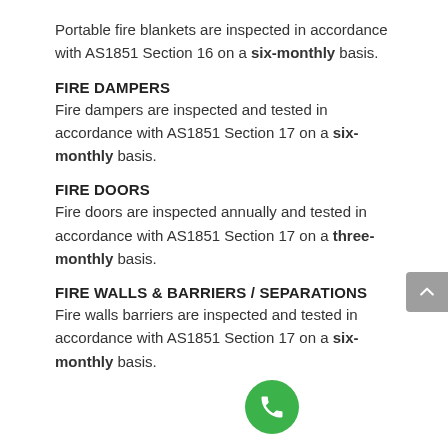Portable fire blankets are inspected in accordance with AS1851 Section 16 on a six-monthly basis.
FIRE DAMPERS
Fire dampers are inspected and tested in accordance with AS1851 Section 17 on a six-monthly basis.
FIRE DOORS
Fire doors are inspected annually and tested in accordance with AS1851 Section 17 on a three-monthly basis.
FIRE WALLS & BARRIERS / SEPARATIONS
Fire walls barriers are inspected and tested in accordance with AS1851 Section 17 on a six-monthly basis.